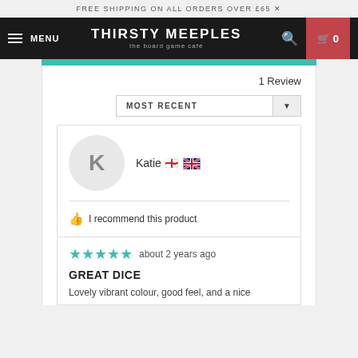FREE SHIPPING ON ALL ORDERS OVER £65
[Figure (screenshot): Thirsty Meeples board game cafe website navigation bar with hamburger menu, logo, search icon, and cart button showing 0 items]
1 Review
MOST RECENT
Katie 🇬🇧
I recommend this product
about 2 years ago
GREAT DICE
Lovely vibrant colour, good feel, and a nice